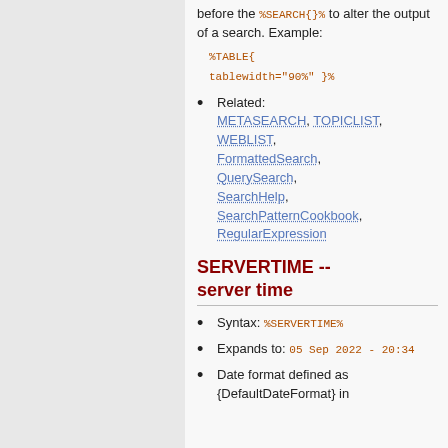before the %SEARCH{}% to alter the output of a search. Example:
%TABLE{
tablewidth="90%" }%
Related: METASEARCH, TOPICLIST, WEBLIST, FormattedSearch, QuerySearch, SearchHelp, SearchPatternCookbook, RegularExpression
SERVERTIME -- server time
Syntax: %SERVERTIME%
Expands to: 05 Sep 2022 - 20:34
Date format defined as {DefaultDateFormat} in